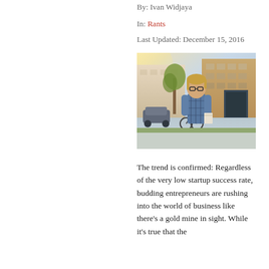By: Ivan Widjaya
In: Rants
Last Updated: December 15, 2016
[Figure (photo): A young man with glasses and long blond hair wearing a plaid shirt, standing on a city street with buildings and a bicycle visible in the background.]
The trend is confirmed: Regardless of the very low startup success rate, budding entrepreneurs are rushing into the world of business like there’s a gold mine in sight. While it’s true that the